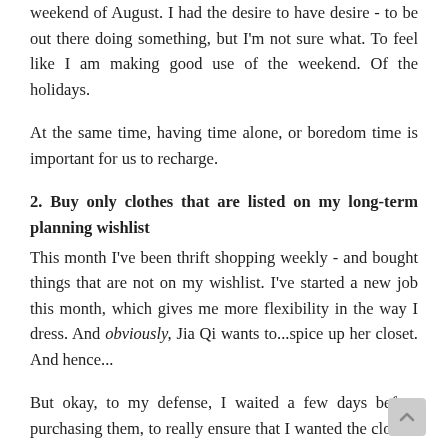weekend of August. I had the desire to have desire - to be out there doing something, but I'm not sure what. To feel like I am making good use of the weekend. Of the holidays.
At the same time, having time alone, or boredom time is important for us to recharge.
2. Buy only clothes that are listed on my long-term planning wishlist
This month I've been thrift shopping weekly - and bought things that are not on my wishlist. I've started a new job this month, which gives me more flexibility in the way I dress. And obviously, Jia Qi wants to...spice up her closet. And hence...
But okay, to my defense, I waited a few days before purchasing them, to really ensure that I wanted the clothes :p
(Yes, this defeats